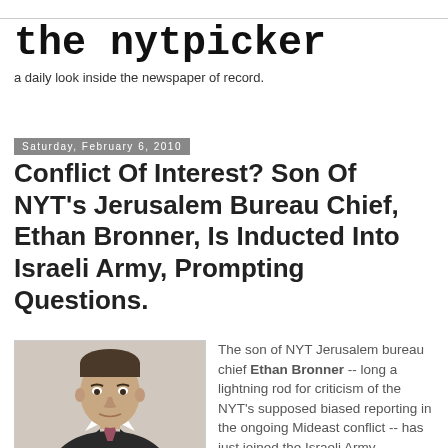the nytpicker
a daily look inside the newspaper of record.
Saturday, February 6, 2010
Conflict Of Interest? Son Of NYT's Jerusalem Bureau Chief, Ethan Bronner, Is Inducted Into Israeli Army, Prompting Questions.
[Figure (photo): Headshot photo of Ethan Bronner, a middle-aged man in a dark suit with a patterned tie, against a light background.]
The son of NYT Jerusalem bureau chief Ethan Bronner -- long a lightning rod for criticism of the NYT's supposed biased reporting in the ongoing Mideast conflict -- has just joined the Israeli Army.